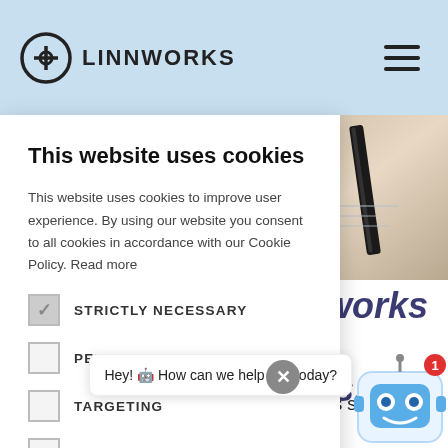LINNWORKS
This website uses cookies
This website uses cookies to improve user experience. By using our website you consent to all cookies in accordance with our Cookie Policy. Read more
STRICTLY NECESSARY (checked)
PERFORMANCE
TARGETING
FUNCTIONALITY
ACCEPT ALL
DECLINE ALL
SHOW DETAILS
Find out how Linnworks can help grow your business.
and automate your commerce operations so you can
Hey! 🤖 How can we help you today?